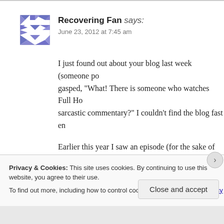[Figure (illustration): Avatar/gravatar icon with blue geometric pattern]
Recovering Fan says: June 23, 2012 at 7:45 am
I just found out about your blog last week (someone po... gasped, "What! There is someone who watches Full Ho... sarcastic commentary?" I couldn't find the blog fast en...
Earlier this year I saw an episode (for the sake of nosta...
Privacy & Cookies: This site uses cookies. By continuing to use this website, you agree to their use.
To find out more, including how to control cookies, see here: Cookie Policy
Close and accept